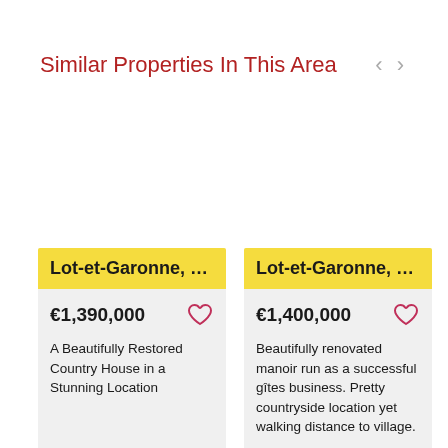Similar Properties In This Area
< >
Lot-et-Garonne, Nou...
€1,390,000
A Beautifully Restored Country House in a Stunning Location
Lot-et-Garonne, Nou...
€1,400,000
Beautifully renovated manoir run as a successful gîtes business. Pretty countryside location yet walking distance to village.